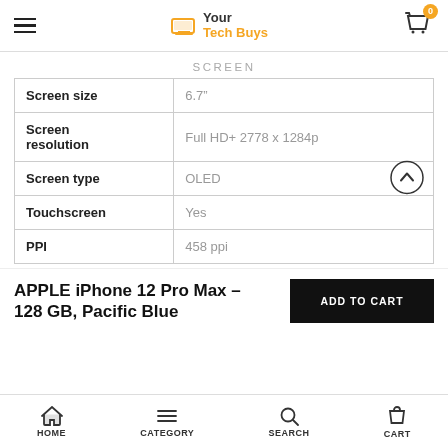Your Tech Buys
SCREEN
|  |  |
| --- | --- |
| Screen size | 6.7" |
| Screen resolution | Full HD+ 2778 x 1284p |
| Screen type | OLED |
| Touchscreen | Yes |
| PPI | 458 ppi |
APPLE iPhone 12 Pro Max – 128 GB, Pacific Blue
HOME  CATEGORY  SEARCH  CART